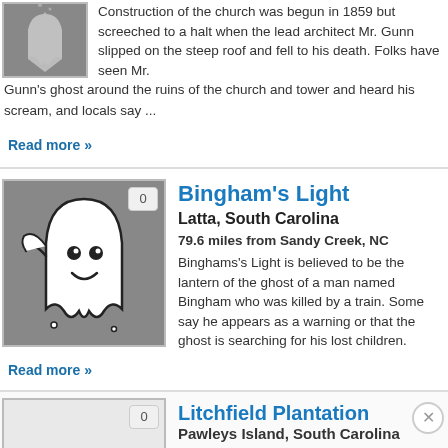[Figure (illustration): Ghost illustration on dark gray background, partial view at top]
Construction of the church was begun in 1859 but screeched to a halt when the lead architect Mr. Gunn slipped on the steep roof and fell to his death. Folks have seen Mr. Gunn's ghost around the ruins of the church and tower and heard his scream, and locals say ...
Read more »
[Figure (illustration): Friendly cartoon ghost (white ghost with smile) on dark gray background, with badge showing 0]
Bingham's Light
Latta, South Carolina
79.6 miles from Sandy Creek, NC
Binghams's Light is believed to be the lantern of the ghost of a man named Bingham who was killed by a train. Some say he appears as a warning or that the ghost is searching for his lost children.
Read more »
[Figure (photo): Partial ghost image at bottom with badge showing 0]
Litchfield Plantation
Pawleys Island, South Carolina